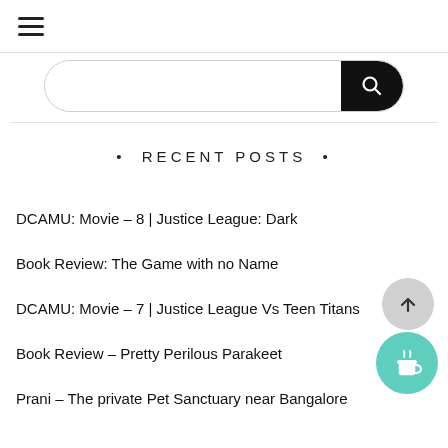[Figure (other): Hamburger menu icon (three horizontal lines)]
[Figure (other): Search bar with rounded border and black search button on right]
• RECENT POSTS •
DCAMU: Movie – 8 | Justice League: Dark
Book Review: The Game with no Name
DCAMU: Movie – 7 | Justice League Vs Teen Titans
Book Review – Pretty Perilous Parakeet
Prani – The private Pet Sanctuary near Bangalore
[Figure (other): Scroll-to-top circular button with up arrow]
[Figure (other): Teal circular button with coffee cup icon]